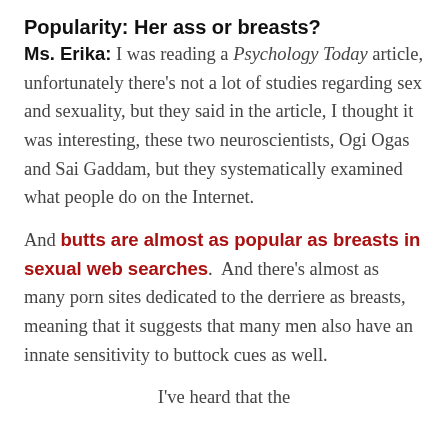Popularity: Her ass or breasts?
Ms. Erika: I was reading a Psychology Today article, unfortunately there’s not a lot of studies regarding sex and sexuality, but they said in the article, I thought it was interesting, these two neuroscientists, Ogi Ogas and Sai Gaddam, but they systematically examined what people do on the Internet.
And butts are almost as popular as breasts in sexual web searches.  And there’s almost as many porn sites dedicated to the derriere as breasts, meaning that it suggests that many men also have an innate sensitivity to buttock cues as well.
I’ve heard that the